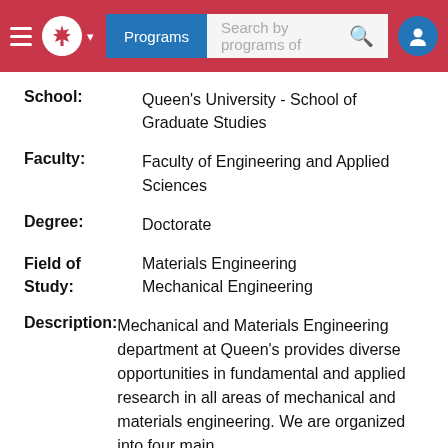Programs | Search by programs of
School: Queen's University - School of Graduate Studies
Faculty: Faculty of Engineering and Applied Sciences
Degree: Doctorate
Field of Study: Materials Engineering Mechanical Engineering
Description: Mechanical and Materials Engineering department at Queen's provides diverse opportunities in fundamental and applied research in all areas of mechanical and materials engineering. We are organized into four main